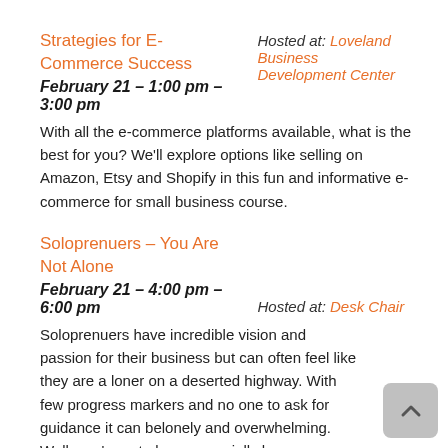Strategies for E-Commerce Success
Hosted at: Loveland Business Development Center
February 21 – 1:00 pm – 3:00 pm
With all the e-commerce platforms available, what is the best for you? We'll explore options like selling on Amazon, Etsy and Shopify in this fun and informative e-commerce for small business course.
Soloprenuers – You Are Not Alone
Hosted at: Desk Chair
February 21 – 4:00 pm – 6:00 pm
Soloprenuers have incredible vision and passion for their business but can often feel like they are a loner on a deserted highway. With few progress markers and no one to ask for guidance it can belonely and overwhelming. Well, you're not alone, especially here